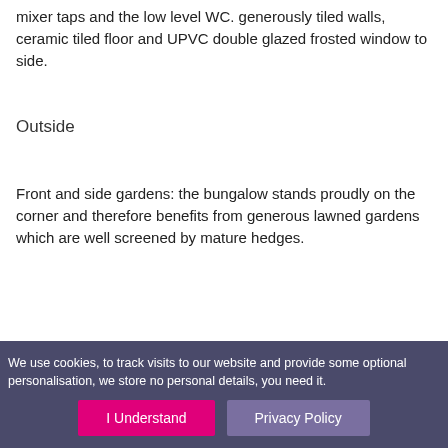mixer taps and the low level WC. generously tiled walls, ceramic tiled floor and UPVC double glazed frosted window to side.
Outside
Front and side gardens: the bungalow stands proudly on the corner and therefore benefits from generous lawned gardens which are well screened by mature hedges.
We use cookies, to track visits to our website and provide some optional personalisation, we store no personal details, you need it.
I Understand
Privacy Policy